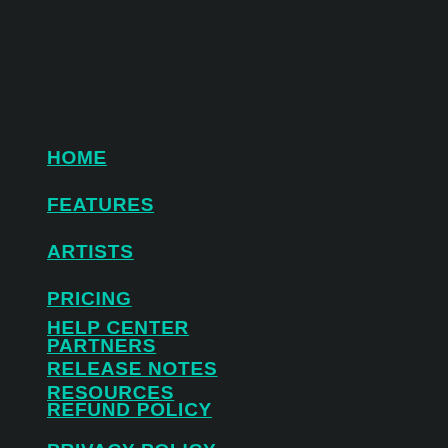HOME
FEATURES
ARTISTS
PRICING
PARTNERS
RESOURCES
HELP CENTER
RELEASE NOTES
REFUND POLICY
PRIVACY POLICY